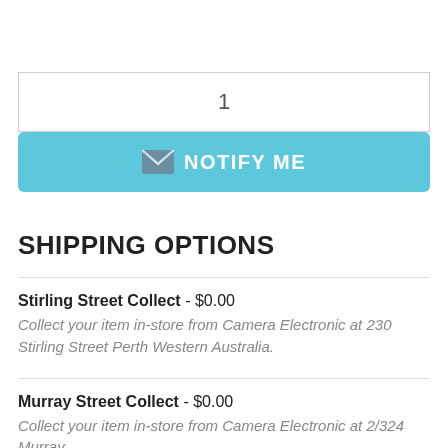1
[Figure (other): NOTIFY ME button with envelope icon on teal/blue background]
SHIPPING OPTIONS
Stirling Street Collect - $0.00
Collect your item in-store from Camera Electronic at 230 Stirling Street Perth Western Australia.
Murray Street Collect - $0.00
Collect your item in-store from Camera Electronic at 2/324 Murray